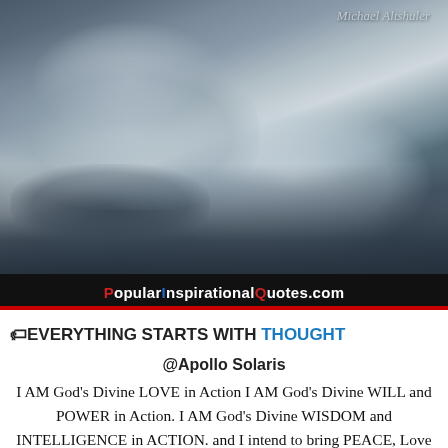[Figure (photo): Dramatic cloud photograph with dark storm clouds, a red and black banner at the bottom reading 'PopularInspirationalQuotes.com', and the text 'Michael Altshuler' in italic in the top right corner.]
🏷EVERYTHING STARTS WITH THOUGHT
@Apollo Solaris
I AM God's Divine LOVE in Action I AM God's Divine WILL and POWER in Action. I AM God's Divine WISDOM and INTELLIGENCE in ACTION. and I intend to bring PEACE, Love and Light to BALANCE the powers in the world –